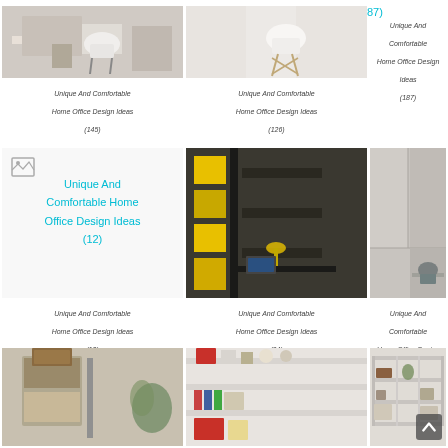[Figure (photo): Home office with white chair and desk - image 1 (145)]
[Figure (photo): Home office with white Eames chair - image 2 (126)]
Unique And Comfortable Home Office Design Ideas (187)
Unique And Comfortable Home Office Design Ideas (145)
Unique And Comfortable Home Office Design Ideas (126)
Unique And Comfortable Home Office Design Ideas (187)
[Figure (photo): Broken image placeholder - Unique And Comfortable Home Office Design Ideas (12)]
[Figure (photo): Home office with yellow and dark shelving unit (34)]
[Figure (photo): Home office with grey built-in wardrobe/desk (17)]
Unique And Comfortable Home Office Design Ideas (12)
Unique And Comfortable Home Office Design Ideas (34)
Unique And Comfortable Home Office Design Ideas (17)
[Figure (photo): Shelf unit with wooden box]
[Figure (photo): Wall shelving with books and items]
[Figure (photo): White open shelving unit]